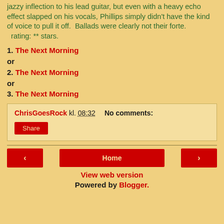jazzy inflection to his lead guitar, but even with a heavy echo effect slapped on his vocals, Phillips simply didn't have the kind of voice to pull it off.  Ballads were clearly not their forte.  rating: ** stars.
1. The Next Morning
or
2. The Next Morning
or
3. The Next Morning
ChrisGoesRock kl. 08:32   No comments:
Share
< Home >
View web version
Powered by Blogger.